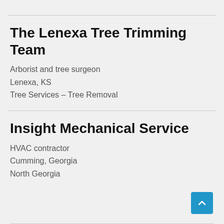The Lenexa Tree Trimming Team
Arborist and tree surgeon
Lenexa, KS
Tree Services – Tree Removal
Insight Mechanical Service
HVAC contractor
Cumming, Georgia
North Georgia